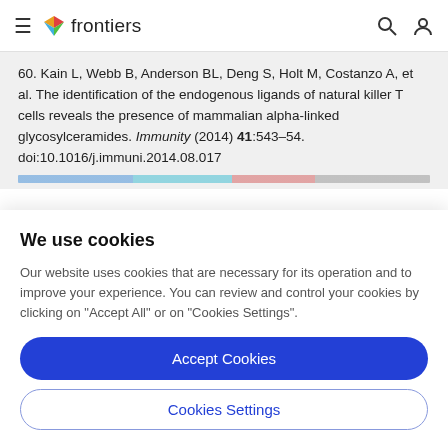frontiers
60. Kain L, Webb B, Anderson BL, Deng S, Holt M, Costanzo A, et al. The identification of the endogenous ligands of natural killer T cells reveals the presence of mammalian alpha-linked glycosylceramides. Immunity (2014) 41:543–54. doi:10.1016/j.immuni.2014.08.017
We use cookies
Our website uses cookies that are necessary for its operation and to improve your experience. You can review and control your cookies by clicking on "Accept All" or on "Cookies Settings".
Accept Cookies
Cookies Settings